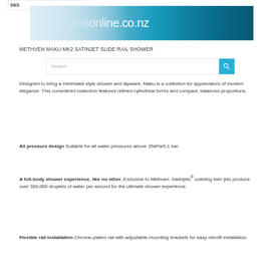[Figure (logo): Bathrooms Online co.nz website logo banner with gradient blue background]
METHVEN MAKU MK2 SATINJET SLIDE RAIL SHOWER
[Figure (screenshot): Search bar with text input and teal search button]
Designed to bring a minimalist style shower and tapware, Maku is a collection for appreciators of modern elegance. This considered collection features refined cylindrical forms and compact, balanced proportions.
All pressure design Suitable for all water pressures above 35kPa/0.1 bar.
A full-body shower experience, like no other. Exclusive to Methven. Satinjets® colliding twin jets produce over 300,000 droplets of water per second for the ultimate shower experience.
Flexible rail installation Chrome-plated rail with adjustable mounting brackets for easy retrofit installation.